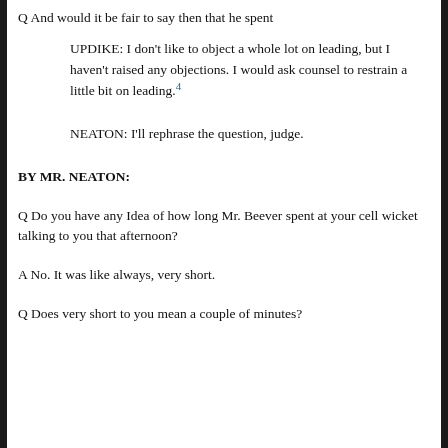Q And would it be fair to say then that he spent
UPDIKE: I don’t like to object a whole lot on leading, but I haven’t raised any objections. I would ask counsel to restrain a little bit on leading.4
NEATON: I’ll rephrase the question, judge.
BY MR. NEATON:
Q Do you have any Idea of how long Mr. Beever spent at your cell wicket talking to you that afternoon?
A No. It was like always, very short.
Q Does very short to you mean a couple of minutes?